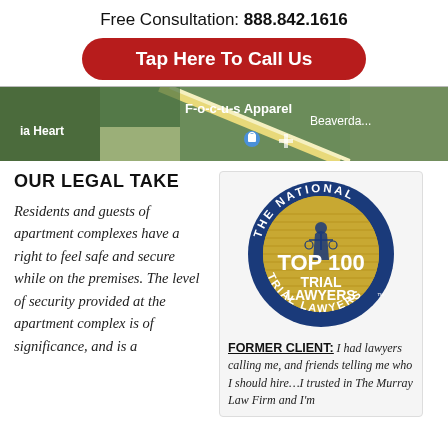Free Consultation: 888.842.1616
Tap Here To Call Us
[Figure (map): Satellite/aerial map view showing F-o-c-u-s Apparel, ia Heart labels, Beaverdam road label, and a location pin marker.]
OUR LEGAL TAKE
Residents and guests of apartment complexes have a right to feel safe and secure while on the premises. The level of security provided at the apartment complex is of significance, and is a
[Figure (logo): The National Trial Lawyers Top 100 Trial Lawyers badge — circular blue and gold seal with a figure of justice holding scales, text reading 'THE NATIONAL TRIAL LAWYERS' around the outer ring and 'TOP 100 TRIAL LAWYERS' in the center.]
FORMER CLIENT: I had lawyers calling me, and friends telling me who I should hire…I trusted in The Murray Law Firm and I'm